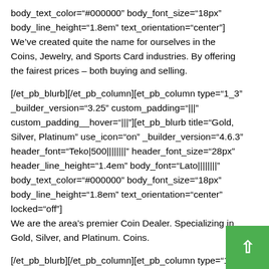body_text_color="#000000" body_font_size="18px" body_line_height="1.8em" text_orientation="center"] We've created quite the name for ourselves in the Coins, Jewelry, and Sports Card industries. By offering the fairest prices – both buying and selling.
[/et_pb_blurb][/et_pb_column][et_pb_column type="1_3" _builder_version="3.25" custom_padding="|||" custom_padding__hover="|||"][et_pb_blurb title="Gold, Silver, Platinum" use_icon="on" _builder_version="4.6.3" header_font="Teko|500|||||||" header_font_size="28px" header_line_height="1.4em" body_font="Lato||||||||" body_text_color="#000000" body_font_size="18px" body_line_height="1.8em" text_orientation="center" locked="off"] We are the area's premier Coin Dealer. Specializing in Gold, Silver, and Platinum. Coins.
[/et_pb_blurb][/et_pb_column][et_pb_column type="1_3" _builder_version="3.25" custom_padding="|||" _builder_version="3.25" custom_padding="|||"